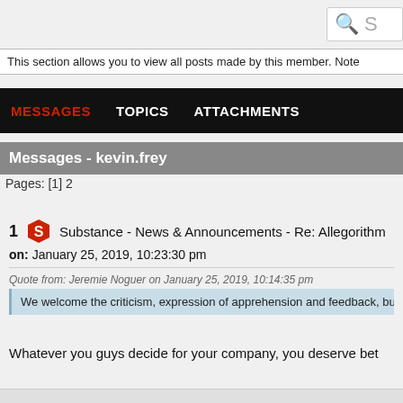This section allows you to view all posts made by this member. Note
MESSAGES   TOPICS   ATTACHMENTS
Messages - kevin.frey
Pages: [1] 2
1  Substance - News & Announcements - Re: Allegorithm
on: January 25, 2019, 10:23:30 pm
Quote from: Jeremie Noguer on January 25, 2019, 10:14:35 pm
We welcome the criticism, expression of apprehension and feedback, but we will n
Whatever you guys decide for your company, you deserve bet